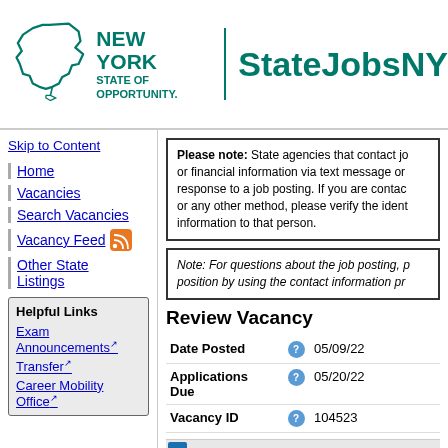[Figure (logo): New York State of Opportunity logo with state outline and StateJobsNY text]
Skip to Content
Home
Vacancies
Search Vacancies
Vacancy Feed
Other State Listings
Helpful Links
Exam Announcements
Transfer
Career Mobility Office
Please note: State agencies that contact job seekers or financial information via text message or in response to a job posting. If you are contacted or any other method, please verify the identity information to that person.
Note: For questions about the job posting, please contact the position by using the contact information provided.
Review Vacancy
| Field |  | Value |
| --- | --- | --- |
| Date Posted |  | 05/09/22 |
| Applications Due |  | 05/20/22 |
| Vacancy ID |  | 104523 |